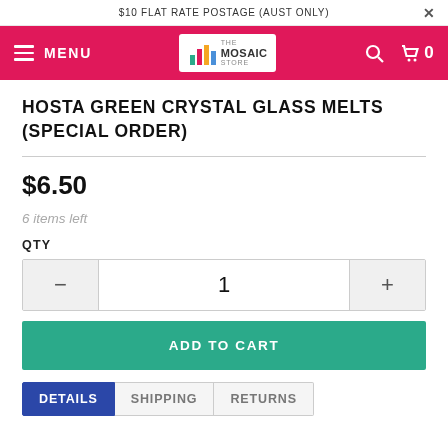$10 FLAT RATE POSTAGE (AUST ONLY)
[Figure (screenshot): Navigation bar with hamburger menu labeled MENU, The Mosaic Store logo in center, search icon and cart with 0 items on the right, on a pink/red background]
HOSTA GREEN CRYSTAL GLASS MELTS (SPECIAL ORDER)
$6.50
6 items left
QTY
1
ADD TO CART
DETAILS  SHIPPING  RETURNS